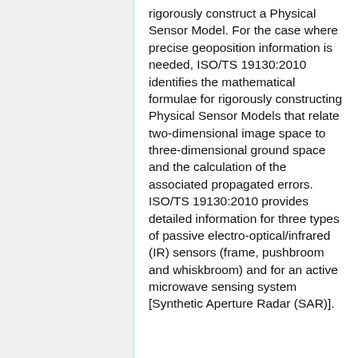rigorously construct a Physical Sensor Model. For the case where precise geoposition information is needed, ISO/TS 19130:2010 identifies the mathematical formulae for rigorously constructing Physical Sensor Models that relate two-dimensional image space to three-dimensional ground space and the calculation of the associated propagated errors. ISO/TS 19130:2010 provides detailed information for three types of passive electro-optical/infrared (IR) sensors (frame, pushbroom and whiskbroom) and for an active microwave sensing system [Synthetic Aperture Radar (SAR)].